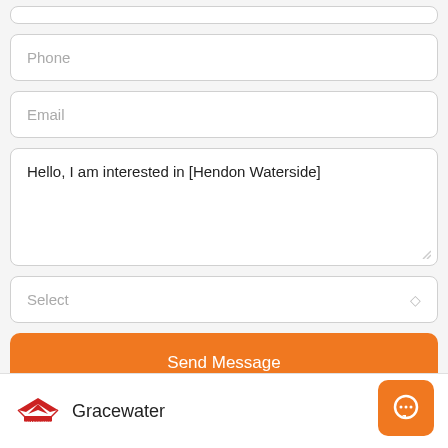[Figure (screenshot): Partial input field at top (cropped)]
Phone
Email
Hello, I am interested in [Hendon Waterside]
Select
Send Message
[Figure (logo): Gracewater logo - red eagle emblem with text]
Gracewater